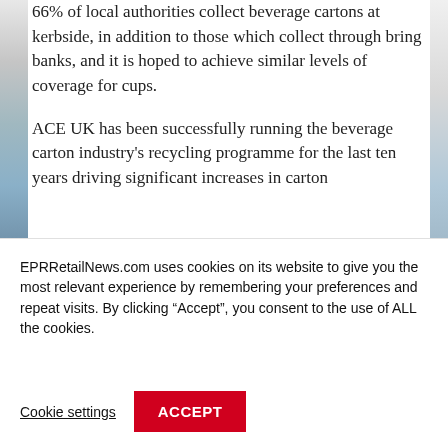[Figure (photo): Partial view of a side image strip showing shelves or products, visible on the left edge of the page]
66% of local authorities collect beverage cartons at kerbside, in addition to those which collect through bring banks, and it is hoped to achieve similar levels of coverage for cups.
ACE UK has been successfully running the beverage carton industry's recycling programme for the last ten years driving significant increases in carton
EPRRetailNews.com uses cookies on its website to give you the most relevant experience by remembering your preferences and repeat visits. By clicking “Accept”, you consent to the use of ALL the cookies.